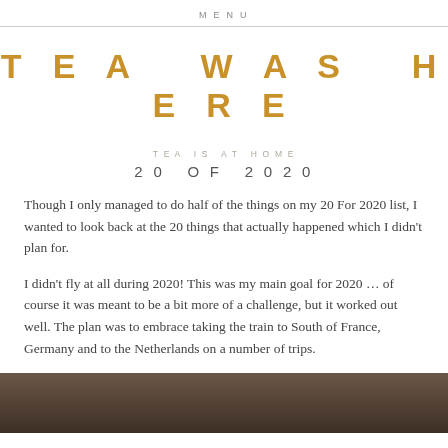MENU
TEA WAS HERE
TEA IS AT HOME
20 OF 2020
Though I only managed to do half of the things on my 20 For 2020 list, I wanted to look back at the 20 things that actually happened which I didn't plan for.
I didn't fly at all during 2020! This was my main goal for 2020 … of course it was meant to be a bit more of a challenge, but it worked out well. The plan was to embrace taking the train to South of France, Germany and to the Netherlands on a number of trips.
[Figure (photo): Dark brown/grey photo strip at bottom of page, appears to be a landscape or nature photo]